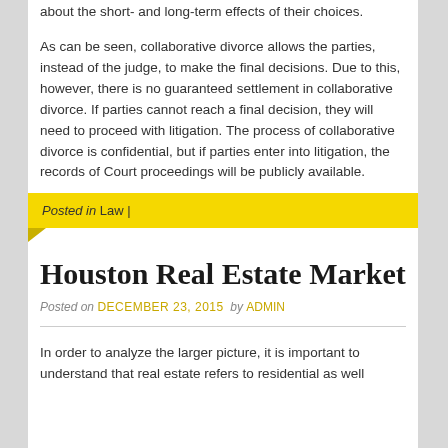about the short- and long-term effects of their choices. As can be seen, collaborative divorce allows the parties, instead of the judge, to make the final decisions. Due to this, however, there is no guaranteed settlement in collaborative divorce. If parties cannot reach a final decision, they will need to proceed with litigation. The process of collaborative divorce is confidential, but if parties enter into litigation, the records of Court proceedings will be publicly available.
Posted in Law |
Houston Real Estate Market
Posted on DECEMBER 23, 2015 by ADMIN
In order to analyze the larger picture, it is important to understand that real estate refers to residential as well